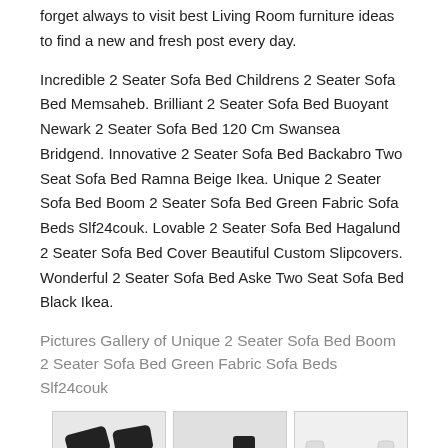forget always to visit best Living Room furniture ideas to find a new and fresh post every day.
Incredible 2 Seater Sofa Bed Childrens 2 Seater Sofa Bed Memsaheb. Brilliant 2 Seater Sofa Bed Buoyant Newark 2 Seater Sofa Bed 120 Cm Swansea Bridgend. Innovative 2 Seater Sofa Bed Backabro Two Seat Sofa Bed Ramna Beige Ikea. Unique 2 Seater Sofa Bed Boom 2 Seater Sofa Bed Green Fabric Sofa Beds Slf24couk. Lovable 2 Seater Sofa Bed Hagalund 2 Seater Sofa Bed Cover Beautiful Custom Slipcovers. Wonderful 2 Seater Sofa Bed Aske Two Seat Sofa Bed Black Ikea.
Pictures Gallery of Unique 2 Seater Sofa Bed Boom 2 Seater Sofa Bed Green Fabric Sofa Beds Slf24couk
[Figure (photo): Grid of sofa bed product photos - row 1: black sofa bed, black convertible sofa, white/light gray sofa]
[Figure (photo): Grid of sofa bed product photos - row 2 (partial): black sofa, gray sofa, dark sofa]